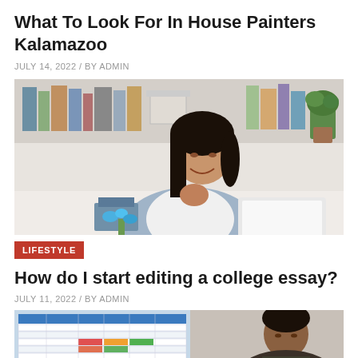What To Look For In House Painters Kalamazoo
JULY 14, 2022 / BY ADMIN
[Figure (photo): Young woman smiling at laptop, sitting at a desk with bookshelves in the background]
LIFESTYLE
How do I start editing a college essay?
JULY 11, 2022 / BY ADMIN
[Figure (photo): Computer monitor showing spreadsheet, with a person visible in the background]